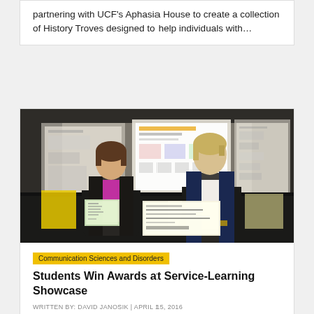partnering with UCF's Aphasia House to create a collection of History Troves designed to help individuals with…
[Figure (photo): Two female students standing at a science fair/showcase event, holding certificates and a large check, with display boards visible in the background.]
Communication Sciences and Disorders
Students Win Awards at Service-Learning Showcase
WRITTEN BY: DAVID JANOSIK | APRIL 15, 2016